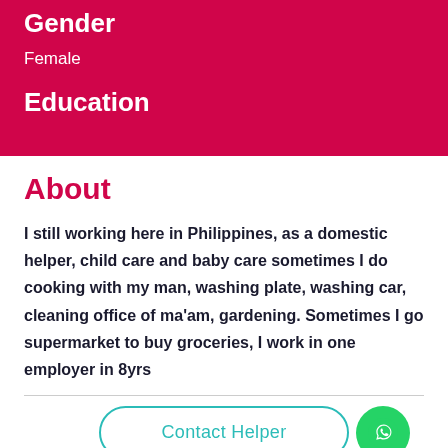Gender
Female
Education
About
I still working here in Philippines, as a domestic helper, child care and baby care sometimes I do cooking with my man, washing plate, washing car, cleaning office of ma'am, gardening. Sometimes I go supermarket to buy groceries, I work in one employer in 8yrs
Contact Helper